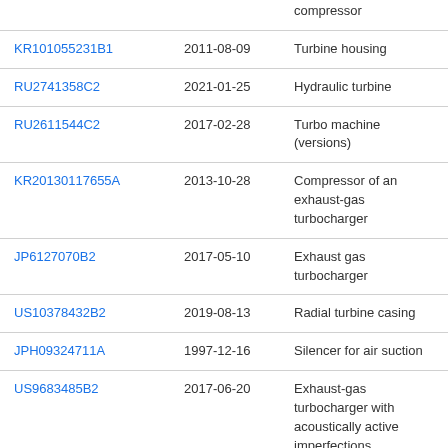| Patent | Date | Title |
| --- | --- | --- |
|  |  | compressor |
| KR101055231B1 | 2011-08-09 | Turbine housing |
| RU2741358C2 | 2021-01-25 | Hydraulic turbine |
| RU2611544C2 | 2017-02-28 | Turbo machine (versions) |
| KR20130117655A | 2013-10-28 | Compressor of an exhaust-gas turbocharger |
| JP6127070B2 | 2017-05-10 | Exhaust gas turbocharger |
| US10378432B2 | 2019-08-13 | Radial turbine casing |
| JPH09324711A | 1997-12-16 | Silencer for air suction |
| US9683485B2 | 2017-06-20 | Exhaust-gas turbocharger with acoustically active imperfections |
| US20220178274A1 | 2022-06-09 | Turbocharger |